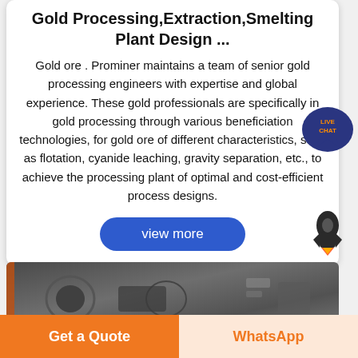Gold Processing,Extraction,Smelting Plant Design ...
Gold ore . Prominer maintains a team of senior gold processing engineers with expertise and global experience. These gold professionals are specifically in gold processing through various beneficiation technologies, for gold ore of different characteristics, such as flotation, cyanide leaching, gravity separation, etc., to achieve the processing plant of optimal and cost-efficient process designs.
[Figure (screenshot): Blue 'view more' rounded button]
[Figure (photo): Industrial equipment photo strip showing dark metallic machinery components]
[Figure (infographic): Live chat speech bubble icon with 'LIVE CHAT' text, dark blue with orange text]
[Figure (illustration): Rocket ship icon in dark gray/black style]
Get a Quote
WhatsApp